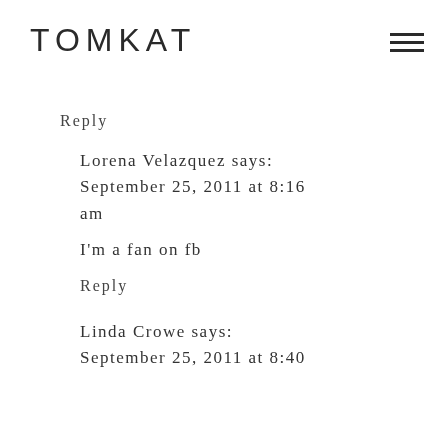TOMKAT
Reply
Lorena Velazquez says: September 25, 2011 at 8:16 am
I'm a fan on fb
Reply
Linda Crowe says: September 25, 2011 at 8:40